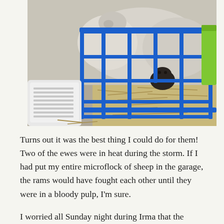[Figure (photo): Sheep in a blue metal wire pen/gate enclosure with straw bedding. A white rectangular object (possibly a heater or feeder) is visible on the left. A green bucket or container is visible on the right side of the pen.]
Turns out it was the best thing I could do for them! Two of the ewes were in heat during the storm. If I had put my entire microflock of sheep in the garage, the rams would have fought each other until they were in a bloody pulp, I'm sure.
I worried all Sunday night during Irma that the sheeps' little wooden shelters with metal roofs were being pulled